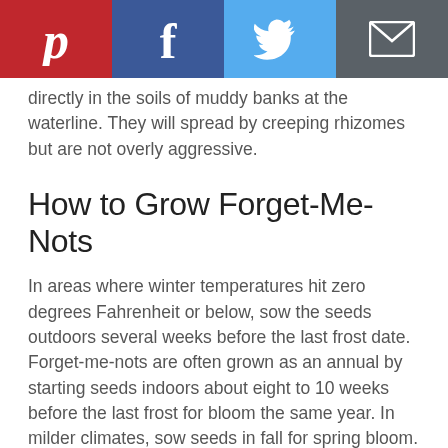[Figure (other): Social sharing bar with Pinterest, Facebook, Twitter, and Email buttons]
directly in the soils of muddy banks at the waterline. They will spread by creeping rhizomes but are not overly aggressive.
How to Grow Forget-Me-Nots
In areas where winter temperatures hit zero degrees Fahrenheit or below, sow the seeds outdoors several weeks before the last frost date. Forget-me-nots are often grown as an annual by starting seeds indoors about eight to 10 weeks before the last frost for bloom the same year. In milder climates, sow seeds in fall for spring bloom.
Forget-me-nots are easy to grow as long as they have organically enriched soil, regular-to-ample water and partial shade. They prefer moist soil with good drainage in a sunny or shady spot. Forget-me-nots perform best in cool weather and in areas where